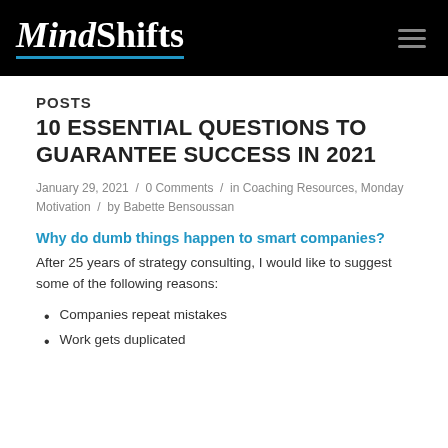MindShifts
POSTS
10 ESSENTIAL QUESTIONS TO GUARANTEE SUCCESS IN 2021
January 29, 2021 / 0 Comments / in Coaching Resources, Monday Motivation / by Babette Bensoussan
Why do dumb things happen to smart companies?
After 25 years of strategy consulting, I would like to suggest some of the following reasons:
Companies repeat mistakes
Work gets duplicated